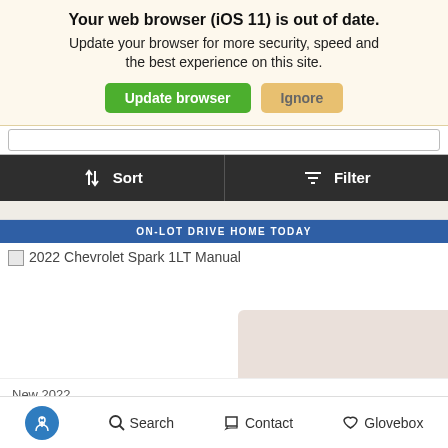Your web browser (iOS 11) is out of date. Update your browser for more security, speed and the best experience on this site.
Update browser | Ignore
[Figure (screenshot): Sort and Filter button bar in dark background]
ON-LOT DRIVE HOME TODAY
[Figure (photo): Broken image placeholder for 2022 Chevrolet Spark 1LT Manual]
New 2022
Chevrolet Spark 1LT Manual
Accessibility  Search  Contact  Glovebox